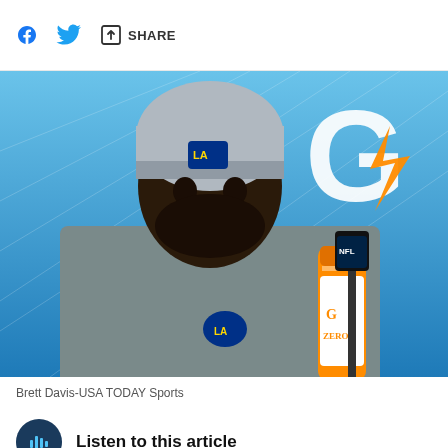f  [twitter]  [share icon] SHARE
[Figure (photo): An NFL player wearing a Los Angeles Rams beanie hat sits at a press conference podium with a Gatorade Zero bottle and an NFL microphone in front of him. A large Gatorade G logo is visible in the background on a blue backdrop.]
Brett Davis-USA TODAY Sports
Listen to this article